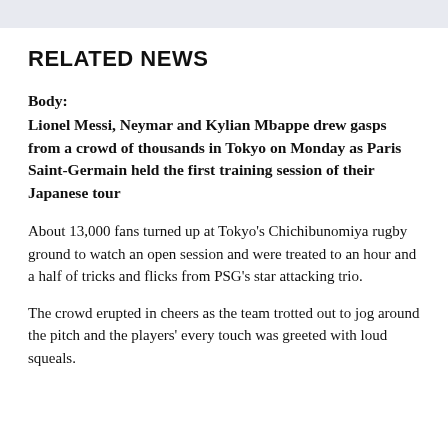RELATED NEWS
Body:
Lionel Messi, Neymar and Kylian Mbappe drew gasps from a crowd of thousands in Tokyo on Monday as Paris Saint-Germain held the first training session of their Japanese tour
About 13,000 fans turned up at Tokyo's Chichibunomiya rugby ground to watch an open session and were treated to an hour and a half of tricks and flicks from PSG's star attacking trio.
The crowd erupted in cheers as the team trotted out to jog around the pitch and the players' every touch was greeted with loud squeals.